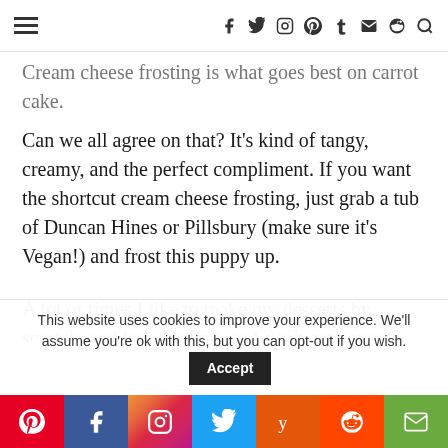≡   f y ⊙ ℗ t ✉ ⊕ 🔍
Cream cheese frosting is what goes best on carrot cake.  Can we all agree on that?  It's kind of tangy, creamy, and the perfect compliment.  If you want the shortcut cream cheese frosting, just grab a tub of Duncan Hines or Pillsbury (make sure it's Vegan!) and frost this puppy up.
A lot of times I like to make my desserts by scratch, and buy frosting, so I don't get covered with frosting and eat it all in the process.  Anyone else like that?
It's just nice to have these options.  However when it's a special event, like Easter, I like to go all out and make the
This website uses cookies to improve your experience. We'll assume you're ok with this, but you can opt-out if you wish.  Accept
Pinterest | Facebook | Instagram | Twitter | Yummly | Reddit | Email